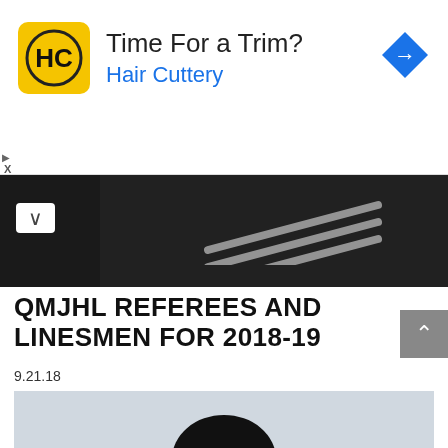[Figure (other): Hair Cuttery advertisement banner with yellow logo showing 'HC', text 'Time For a Trim?' and 'Hair Cuttery' in blue, and a blue diamond navigation arrow icon on the right]
[Figure (photo): Partial black and white image at top of content area showing what appears to be a helmet or hockey equipment]
QMJHL REFEREES AND LINESMEN FOR 2018-19
9.21.18
[Figure (photo): Hockey referee in black and white striped jersey with orange armband and black helmet, gesturing with arm extended on ice]